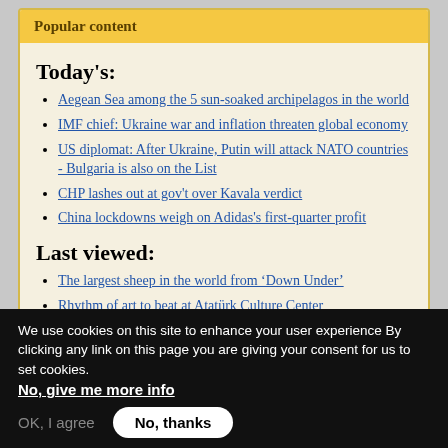Popular content
Today's:
Aegean Sea among the 5 sun-soaked archipelagos in the world
IMF chief: Ukraine war and inflation threaten global economy
US diplomat: After Ukraine, Putin will attack NATO countries - Bulgaria is also on the List
CHP lashes out at gov't over Kavala verdict
China lockdowns weigh on Adidas's first-quarter profit
Last viewed:
The largest sheep in the world from ‘Down Under’
Rhythm of art to beat at Atatürk Culture Center
US diplomat: After Ukraine, Putin will attack NATO countries - Bulgaria is als…
China trade w… down to fight virus
Privacy settings
We use cookies on this site to enhance your user experience By clicking any link on this page you are giving your consent for us to set cookies. No, give me more info
OK, I agree
No, thanks